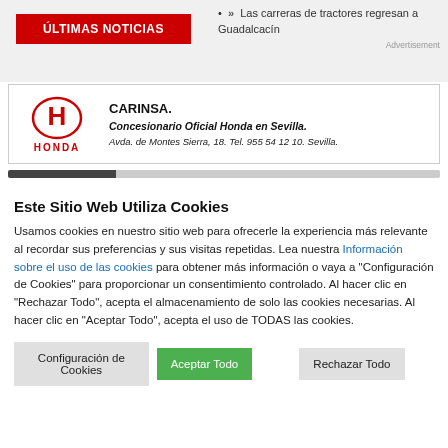[Figure (screenshot): Red button labeled ULTIMAS NOTICIAS on a light grey background]
Las carreras de tractores regresan a Guadalcacín
Advertisement
[Figure (logo): Honda CARINSA advertisement box with Honda logo, CARINSA. bold heading, Concesionario Oficial Honda en Sevilla., Avda. de Montes Sierra, 18. Tel. 955 54 12 10. Sevilla.]
Este Sitio Web Utiliza Cookies
Usamos cookies en nuestro sitio web para ofrecerle la experiencia más relevante al recordar sus preferencias y sus visitas repetidas. Lea nuestra Información sobre el uso de las cookies para obtener más información o vaya a "Configuración de Cookies" para proporcionar un consentimiento controlado. Al hacer clic en "Rechazar Todo", acepta el almacenamiento de solo las cookies necesarias. Al hacer clic en "Aceptar Todo", acepta el uso de TODAS las cookies.
Configuración de Cookies
Aceptar Todo
Rechazar Todo